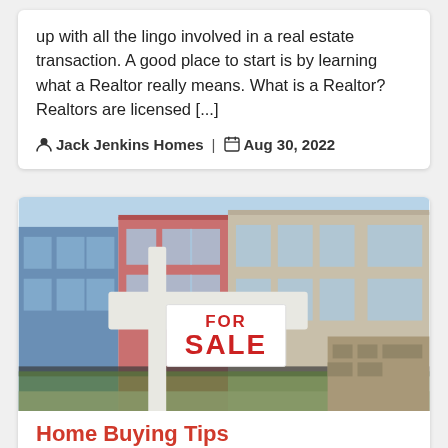up with all the lingo involved in a real estate transaction. A good place to start is by learning what a Realtor really means. What is a Realtor? Realtors are licensed [...]
Jack Jenkins Homes | Aug 30, 2022
[Figure (photo): A white FOR SALE sign in front of colorful row houses with blue, red, and beige facades]
Home Buying Tips